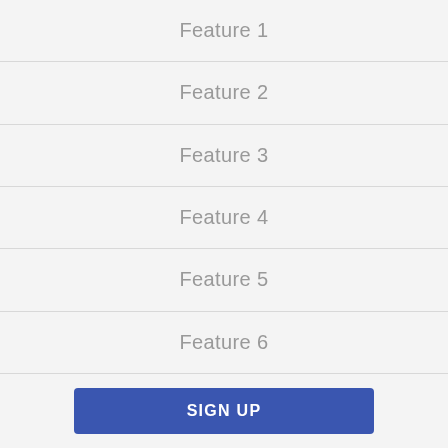Feature 1
Feature 2
Feature 3
Feature 4
Feature 5
Feature 6
SIGN UP